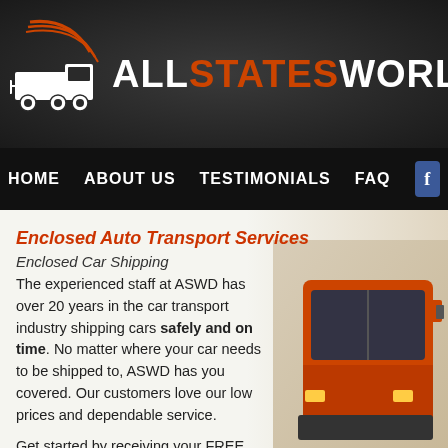[Figure (logo): All States Worldwide logo with truck graphic and text. White and orange text on dark background reading ALL STATES WORLD WI (partially visible)]
HOME   ABOUT US   TESTIMONIALS   FAQ
Enclosed Auto Transport Services
Enclosed Car Shipping
The experienced staff at ASWD has over 20 years in the car transport industry shipping cars safely and on time. No matter where your car needs to be shipped to, ASWD has you covered. Our customers love our low prices and dependable service.

Get started by receiving your FREE auto
[Figure (photo): Orange transport truck cab photographed from below/side angle]